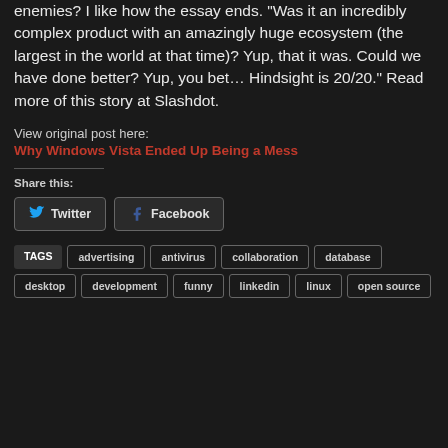enemies? I like how the essay ends. "Was it an incredibly complex product with an amazingly huge ecosystem (the largest in the world at that time)? Yup, that it was. Could we have done better? Yup, you bet… Hindsight is 20/20." Read more of this story at Slashdot.
View original post here:
Why Windows Vista Ended Up Being a Mess
Share this:
Twitter  Facebook
TAGS  advertising  antivirus  collaboration  database  desktop  development  funny  linkedin  linux  open source